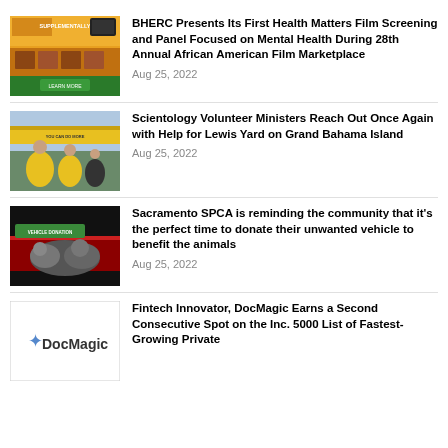[Figure (photo): Advertisement with orange/yellow background, text SUPPLEMENTALLY and images of people]
BHERC Presents Its First Health Matters Film Screening and Panel Focused on Mental Health During 28th Annual African American Film Marketplace
Aug 25, 2022
[Figure (photo): People in yellow shirts outdoors, Scientology Volunteer Ministers]
Scientology Volunteer Ministers Reach Out Once Again with Help for Lewis Yard on Grand Bahama Island
Aug 25, 2022
[Figure (photo): Dark background with animals, Sacramento SPCA vehicle donation advertisement]
Sacramento SPCA is reminding the community that it's the perfect time to donate their unwanted vehicle to benefit the animals
Aug 25, 2022
[Figure (logo): DocMagic logo with star icon on white background with border]
Fintech Innovator, DocMagic Earns a Second Consecutive Spot on the Inc. 5000 List of Fastest-Growing Private